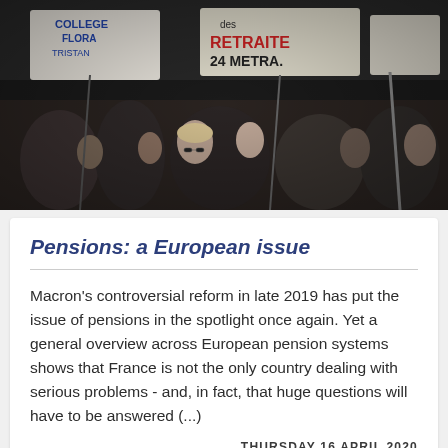[Figure (photo): Crowd of protesters marching, holding signs including 'COLLEGE FLORA TRISTAN', 'des RETRAITES', '24 METRA' on hand-written banners. Black and white / dark toned photograph of a street demonstration.]
Pensions: a European issue
Macron's controversial reform in late 2019 has put the issue of pensions in the spotlight once again. Yet a general overview across European pension systems shows that France is not the only country dealing with serious problems - and, in fact, that huge questions will have to be answered (...)
THURSDAY 16 APRIL 2020